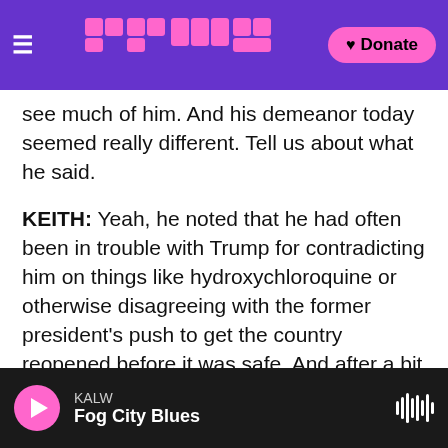NPR / KALW — Donate
see much of him. And his demeanor today seemed really different. Tell us about what he said.
KEITH: Yeah, he noted that he had often been in trouble with Trump for contradicting him on things like hydroxychloroquine or otherwise disagreeing with the former president's push to get the country reopened before it was safe. And after a bit of prodding, Fauci admitted that appearing in the briefing room today, not having to worry about the consequences of what would happen if he contradicted the president, that he felt liberated. Now, he insisted he never pulled his punches with Trump, and that is probably why he eventually got
KALW — Fog City Blues